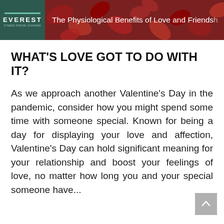The Physiological Benefits of Love and Friendship
WHAT'S LOVE GOT TO DO WITH IT?
As we approach another Valentine's Day in the pandemic, consider how you might spend some time with someone special. Known for being a day for displaying your love and affection, Valentine's Day can hold significant meaning for your relationship and boost your feelings of love, no matter how long you and your special someone have...